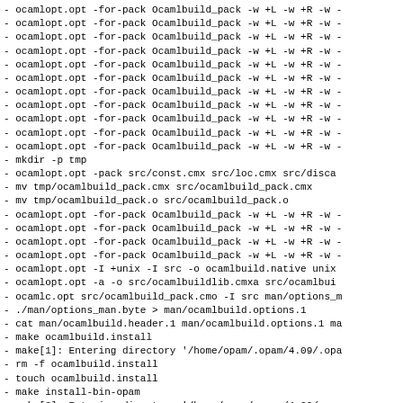- ocamlopt.opt -for-pack Ocamlbuild_pack -w +L -w +R -w -
- ocamlopt.opt -for-pack Ocamlbuild_pack -w +L -w +R -w -
- ocamlopt.opt -for-pack Ocamlbuild_pack -w +L -w +R -w -
- ocamlopt.opt -for-pack Ocamlbuild_pack -w +L -w +R -w -
- ocamlopt.opt -for-pack Ocamlbuild_pack -w +L -w +R -w -
- ocamlopt.opt -for-pack Ocamlbuild_pack -w +L -w +R -w -
- ocamlopt.opt -for-pack Ocamlbuild_pack -w +L -w +R -w -
- ocamlopt.opt -for-pack Ocamlbuild_pack -w +L -w +R -w -
- ocamlopt.opt -for-pack Ocamlbuild_pack -w +L -w +R -w -
- ocamlopt.opt -for-pack Ocamlbuild_pack -w +L -w +R -w -
- ocamlopt.opt -for-pack Ocamlbuild_pack -w +L -w +R -w -
- mkdir -p tmp
- ocamlopt.opt -pack src/const.cmx src/loc.cmx src/disca
- mv tmp/ocamlbuild_pack.cmx src/ocamlbuild_pack.cmx
- mv tmp/ocamlbuild_pack.o src/ocamlbuild_pack.o
- ocamlopt.opt -for-pack Ocamlbuild_pack -w +L -w +R -w -
- ocamlopt.opt -for-pack Ocamlbuild_pack -w +L -w +R -w -
- ocamlopt.opt -for-pack Ocamlbuild_pack -w +L -w +R -w -
- ocamlopt.opt -for-pack Ocamlbuild_pack -w +L -w +R -w -
- ocamlopt.opt -I +unix -I src -o ocamlbuild.native unix
- ocamlopt.opt -a -o src/ocamlbuildlib.cmxa src/ocamlbui
- ocamlc.opt src/ocamlbuild_pack.cmo -I src man/options_m
- ./man/options_man.byte > man/ocamlbuild.options.1
- cat man/ocamlbuild.header.1 man/ocamlbuild.options.1 ma
- make ocamlbuild.install
- make[1]: Entering directory '/home/opam/.opam/4.09/.opa
- rm -f ocamlbuild.install
- touch ocamlbuild.install
- make install-bin-opam
- make[2]: Entering directory '/home/opam/.opam/4.09/.opa